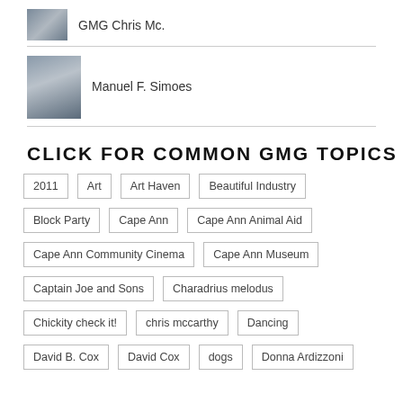GMG Chris Mc.
[Figure (photo): Small profile photo of a person outdoors]
Manuel F. Simoes
CLICK FOR COMMON GMG TOPICS
2011
Art
Art Haven
Beautiful Industry
Block Party
Cape Ann
Cape Ann Animal Aid
Cape Ann Community Cinema
Cape Ann Museum
Captain Joe and Sons
Charadrius melodus
Chickity check it!
chris mccarthy
Dancing
David B. Cox
David Cox
dogs
Donna Ardizzoni